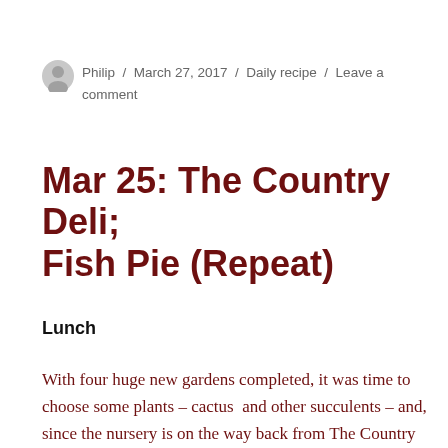Philip / March 27, 2017 / Daily recipe / Leave a comment
Mar 25: The Country Deli; Fish Pie (Repeat)
Lunch
With four huge new gardens completed, it was time to choose some plants – cactus  and other succulents – and, since the nursery is on the way back from The Country Deli, we stopped in